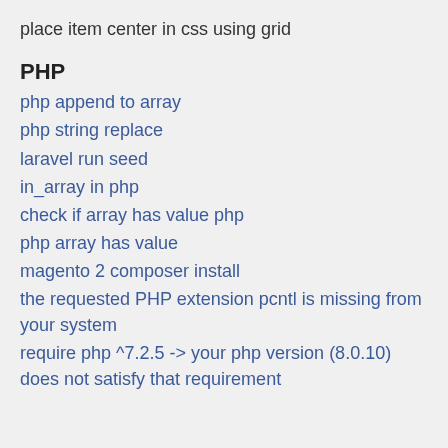place item center in css using grid
PHP
php append to array
php string replace
laravel run seed
in_array in php
check if array has value php
php array has value
magento 2 composer install
the requested PHP extension pcntl is missing from your system
require php ^7.2.5 -> your php version (8.0.10) does not satisfy that requirement